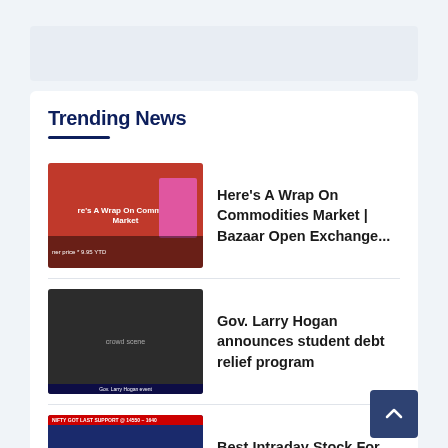Trending News
Here's A Wrap On Commodities Market | Bazaar Open Exchange...
Gov. Larry Hogan announces student debt relief program
Best Intraday Stock For Tomorrow – 23 Aug || Intraday...